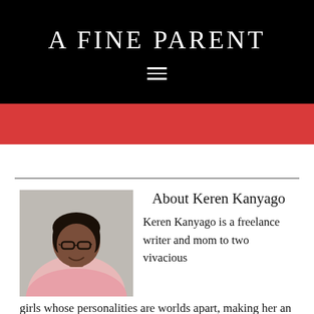A FINE PARENT
[Figure (other): Red decorative bar beneath the header]
About Keren Kanyago
Keren Kanyago is a freelance writer and mom to two vivacious girls whose personalities are worlds apart, making her an expert mediator. When she is
[Figure (photo): Photo of Keren Kanyago, a woman wearing glasses and smiling, wearing a pink top]